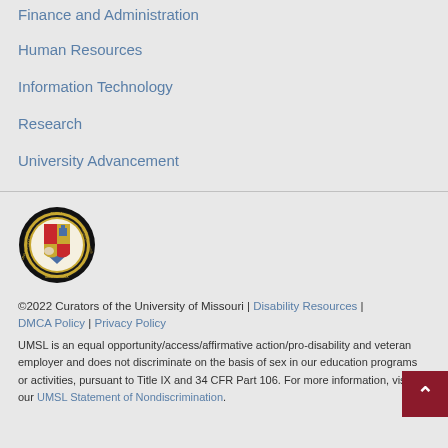Finance and Administration
Human Resources
Information Technology
Research
University Advancement
[Figure (logo): University of Missouri seal/logo — circular black seal with university crest and Latin text SIGILL UNIVERSITATIS MISSOURIENSIS MDCCCXXXIX]
©2022 Curators of the University of Missouri | Disability Resources | DMCA Policy | Privacy Policy
UMSL is an equal opportunity/access/affirmative action/pro-disability and veteran employer and does not discriminate on the basis of sex in our education programs or activities, pursuant to Title IX and 34 CFR Part 106. For more information, visit our UMSL Statement of Nondiscrimination.